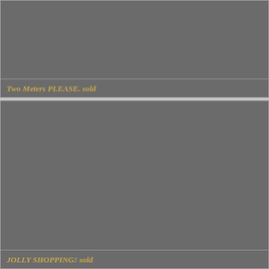[Figure (photo): Gray placeholder image area for first item]
Two Meters PLEASE. sold
[Figure (photo): Gray placeholder image area for second item]
JOLLY SHOPPING! sold